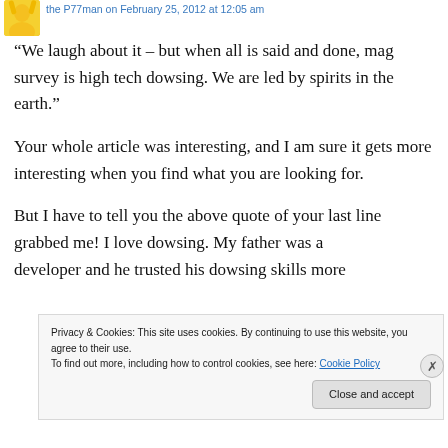the P77man on February 25, 2012 at 12:05 am
“We laugh about it – but when all is said and done, mag survey is high tech dowsing. We are led by spirits in the earth.”
Your whole article was interesting, and I am sure it gets more interesting when you find what you are looking for.
But I have to tell you the above quote of your last line grabbed me! I love dowsing. My father was a developer and he trusted his dowsing skills more
Privacy & Cookies: This site uses cookies. By continuing to use this website, you agree to their use.
To find out more, including how to control cookies, see here: Cookie Policy
Close and accept